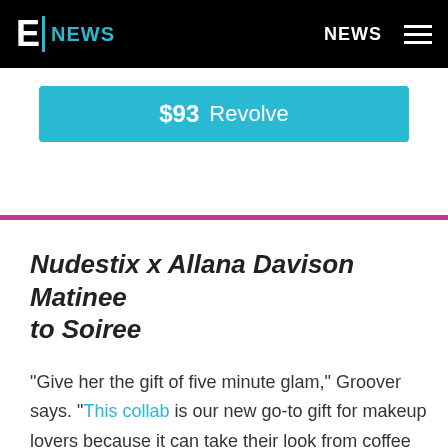E NEWS | NEWS
$93 Revolve
Nudestix x Allana Davison Matinee to Soiree
"Give her the gift of five minute glam," Groover says. "This collab is our new go-to gift for makeup lovers because it can take their look from coffee to cocktails, and looks great on every skin tone."